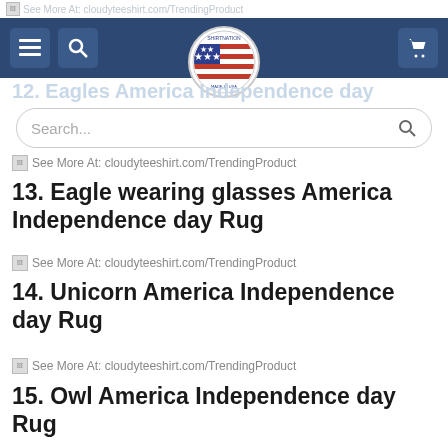See More At: cloudyteeshirt.com/TrendingProduct
12. Eagles America Independence day
Search...
See More At: cloudyteeshirt.com/TrendingProduct
13. Eagle wearing glasses America Independence day Rug
See More At: cloudyteeshirt.com/TrendingProduct
14. Unicorn America Independence day Rug
See More At: cloudyteeshirt.com/TrendingProduct
15. Owl America Independence day Rug